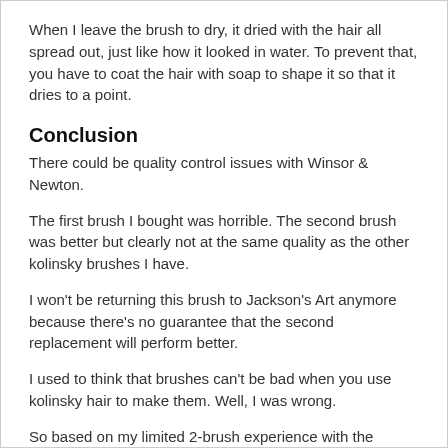When I leave the brush to dry, it dried with the hair all spread out, just like how it looked in water. To prevent that, you have to coat the hair with soap to shape it so that it dries to a point.
Conclusion
There could be quality control issues with Winsor & Newton.
The first brush I bought was horrible. The second brush was better but clearly not at the same quality as the other kolinsky brushes I have.
I won't be returning this brush to Jackson's Art anymore because there's no guarantee that the second replacement will perform better.
I used to think that brushes can't be bad when you use kolinsky hair to make them. Well, I was wrong.
So based on my limited 2-brush experience with the Winsor & Newton Series 7, this is not something I can recommend.
If you happen to be using WN Series 7 brushes, please share with me your experiences in the comments section below.